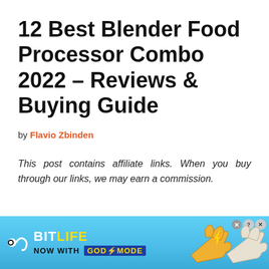12 Best Blender Food Processor Combo 2022 – Reviews & Buying Guide
by Flavio Zbinden
This post contains affiliate links. When you buy through our links, we may earn a commission.
[Figure (infographic): BitLife advertisement banner with light blue gradient background, BitLife logo with wavy line icon, 'NOW WITH GOD MODE' text in yellow on dark blue box, cartoon hands pointing right, close button with X in top right corner]